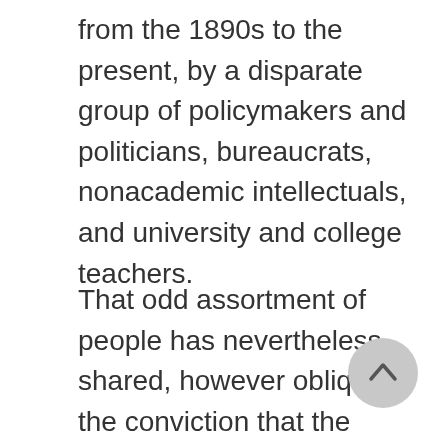from the 1890s to the present, by a disparate group of policymakers and politicians, bureaucrats, nonacademic intellectuals, and university and college teachers.
That odd assortment of people has nevertheless shared, however obliquely, the conviction that the Open Door policy is the keystone of twentieth-century American diplomacy. Elected policymakers, for example, as well as the bureaucrats they ushered